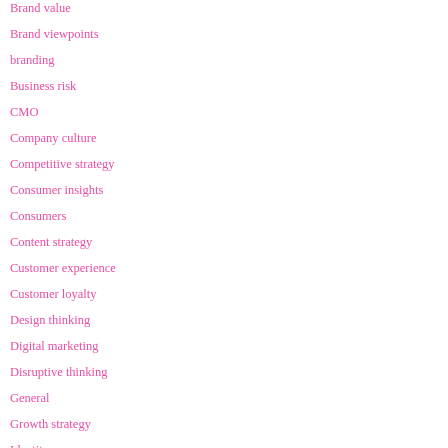Brand value
Brand viewpoints
branding
Business risk
CMO
Company culture
Competitive strategy
Consumer insights
Consumers
Content strategy
Customer experience
Customer loyalty
Design thinking
Digital marketing
Disruptive thinking
General
Growth strategy
Identity
Innovation
Language